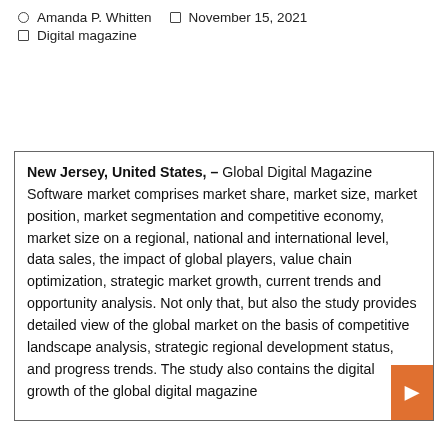Amanda P. Whitten   November 15, 2021
Digital magazine
New Jersey, United States, – Global Digital Magazine Software market comprises market share, market size, market position, market segmentation and competitive economy, market size on a regional, national and international level, data sales, the impact of global players, value chain optimization, strategic market growth, current trends and opportunity analysis. Not only that, but also the study provides detailed view of the global market on the basis of competitive landscape analysis, strategic regional development status, and progress trends. The study also contains the digital growth of the global digital magazine...